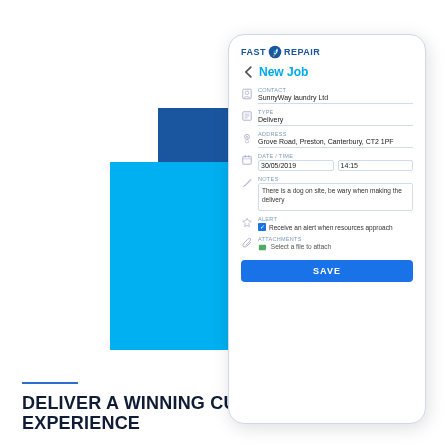[Figure (screenshot): Software app mockup showing a 'New Job' form from Fast Repair app on a tablet/phone device. Fields include Contact (SunnyWay laundry Ltd), Type (Delivery), Address (Grove Road, Preston, Canterbury, CT2 1PF), Date/Time (30/05/2019, 14:15), Notes (There is a dog on site, be wary when making the delivery), Alert (checkbox: Receive an alert when resources approach), Attachments (Select a file to attach), and a blue SAVE button. Behind the device are overlapping blue squares in dark blue and cyan.]
DELIVER A WINNING CUSTOMER EXPERIENCE